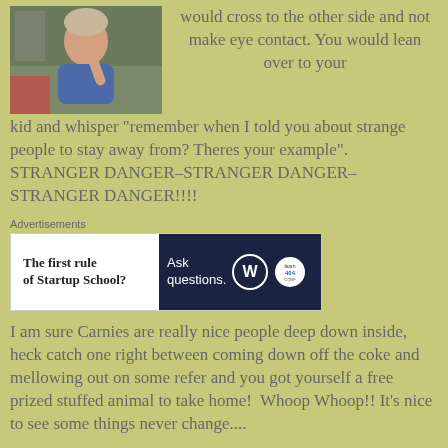[Figure (photo): Photo of a person sitting outdoors eating or drinking something, wearing a blue shirt]
would cross to the other side and not make eye contact. You would lean over to your kid and whisper “remember when I told you about strange people to stay away from? Theres your example”.  STRANGER DANGER–STRANGER DANGER–STRANGER DANGER!!!!
[Figure (screenshot): Advertisement banner: left side white background with bold text 'The first rule of Startup School?'; right side dark navy background with text 'Ask questions.' and WordPress logo and another logo]
I am sure Carnies are really nice people deep down inside, heck catch one right between coming down off the coke and mellowing out on some refer and you got yourself a free prized stuffed animal to take home!  Whoop Whoop!! It’s nice to see some things never change....